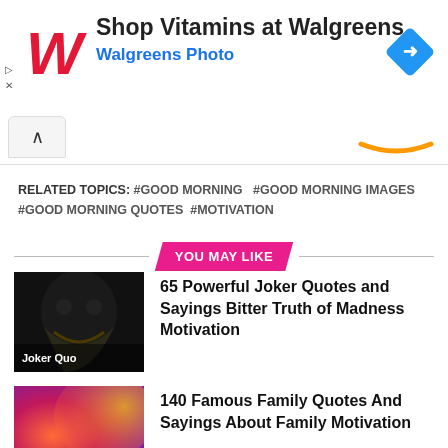[Figure (screenshot): Walgreens ad banner with red W logo, text 'Shop Vitamins at Walgreens' and 'Walgreens Photo', and a blue navigation diamond icon]
[Figure (screenshot): Browser navigation bar with caret/up arrow tab and Amazon logo orange smile]
RELATED TOPICS: #GOOD MORNING  #GOOD MORNING IMAGES  #GOOD MORNING QUOTES  #MOTIVATION
YOU MAY LIKE
[Figure (photo): Joker movie image thumbnail with text 'Joker Quo' overlay]
65 Powerful Joker Quotes and Sayings Bitter Truth of Madness Motivation
[Figure (photo): Colorful purple and orange abstract background with text 'Family Quotes']
140 Famous Family Quotes And Sayings About Family Motivation